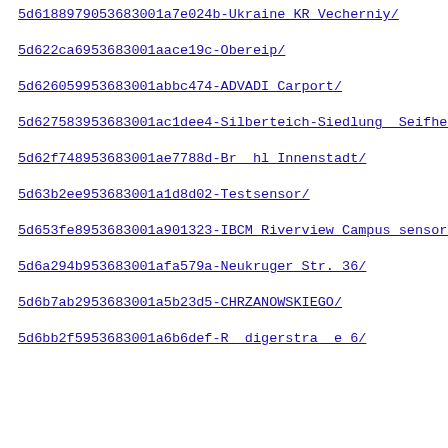5d6188979053683001a7e024b-Ukraine KR Vecherniy/
5d622ca6953683001aace19c-Obereip/
5d626059953683001abbc474-ADVADI Carport/
5d627583953683001ac1dee4-Silberteich-Siedlung  Seifhenner
5d62f748953683001ae7788d-Br  hl Innenstadt/
5d63b2ee953683001a1d8d02-Testsensor/
5d653fe8953683001a901323-IBCM Riverview Campus sensor/
5d6a294b953683001afa579a-Neukruger Str. 36/
5d6b7ab2953683001a5b23d5-CHRZANOWSKIEGO/
5d6bb2f5953683001a6b6def-R  digerstra  e 6/